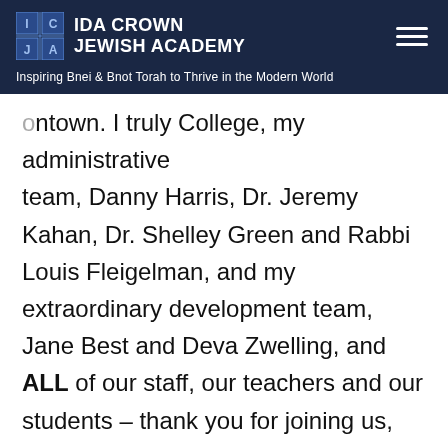IDA CROWN JEWISH ACADEMY
Inspiring Bnei & Bnot Torah to Thrive in the Modern World
...known. I truly College, my administrative team, Danny Harris, Dr. Jeremy Kahan, Dr. Shelley Green and Rabbi Louis Fleigelman, and my extraordinary development team, Jane Best and Deva Zwelling, and ALL of our staff, our teachers and our students – thank you for joining us, thank you for believing in us, and thank you dreaming WITH us of what the Ida Crown Jewish Academy can, and will be – a school dedicated to Torah, dedicated to chesed and community, dedicated to academic excellence, and dedicated to Medinat